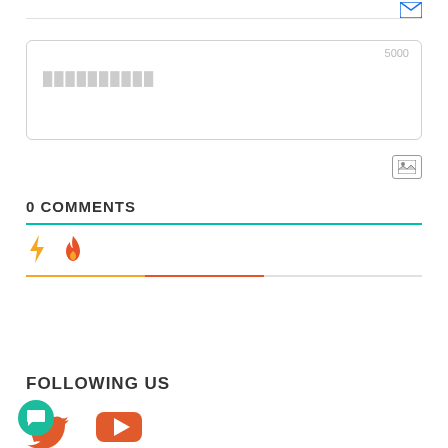[Figure (screenshot): Text area input box with character count 5000 and placeholder text in non-Latin script]
[Figure (other): Image icon button (photo/image placeholder icon)]
0 COMMENTS
[Figure (other): Lightning bolt icon (yellow/orange) and flame icon (orange-red) with colored gradient divider below]
FOLLOWING US
[Figure (other): Twitter bird icon (red-orange) and YouTube play button icon (red-orange), chat bubble button (teal)]